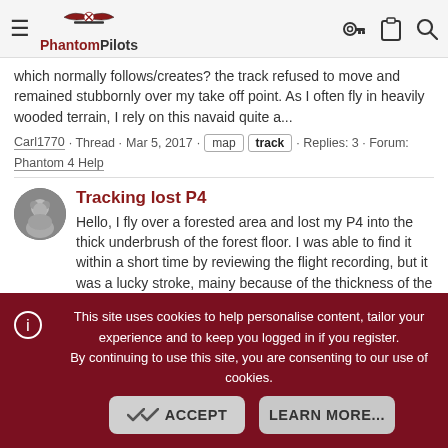PhantomPilots
which normally follows/creates? the track refused to move and remained stubbornly over my take off point. As I often fly in heavily wooded terrain, I rely on this navaid quite a...
Carl1770 · Thread · Mar 5, 2017 · map track · Replies: 3 · Forum: Phantom 4 Help
Tracking lost P4
Hello, I fly over a forested area and lost my P4 into the thick underbrush of the forest floor. I was able to find it within a short time by reviewing the flight recording, but it was a lucky stroke, mainy because of the thickness of the underbrush. As it was I had to tramp through poison oak...
This site uses cookies to help personalise content, tailor your experience and to keep you logged in if you register. By continuing to use this site, you are consenting to our use of cookies.